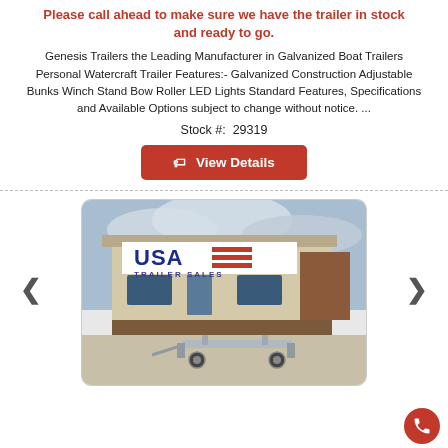Please call ahead to make sure we have the trailer in stock and ready to go.
Genesis Trailers the Leading Manufacturer in Galvanized Boat Trailers Personal Watercraft Trailer Features:- Galvanized Construction Adjustable Bunks Winch Stand Bow Roller LED Lights Standard Features, Specifications and Available Options subject to change without notice. ...
Stock #: 29319
View Details
[Figure (photo): Photo of a USA Trailer Sales storefront building with a galvanized boat trailer parked in the foreground on a concrete lot, with cloudy sky in the background.]